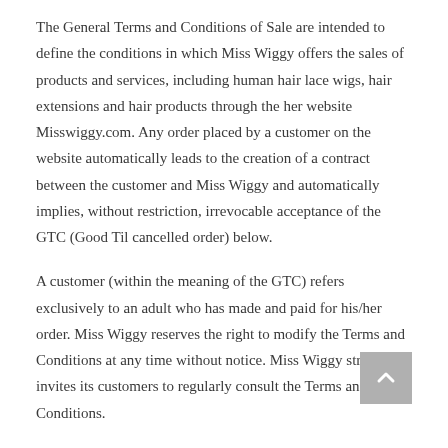The General Terms and Conditions of Sale are intended to define the conditions in which Miss Wiggy offers the sales of products and services, including human hair lace wigs, hair extensions and hair products through the her website Misswiggy.com. Any order placed by a customer on the website automatically leads to the creation of a contract between the customer and Miss Wiggy and automatically implies, without restriction, irrevocable acceptance of the GTC (Good Til cancelled order) below.
A customer (within the meaning of the GTC) refers exclusively to an adult who has made and paid for his/her order. Miss Wiggy reserves the right to modify the Terms and Conditions at any time without notice. Miss Wiggy strongly invites its customers to regularly consult the Terms and Conditions.
Article 2. Product Information and Availability
Products sold by Miss Wiggy are accessible to all types of